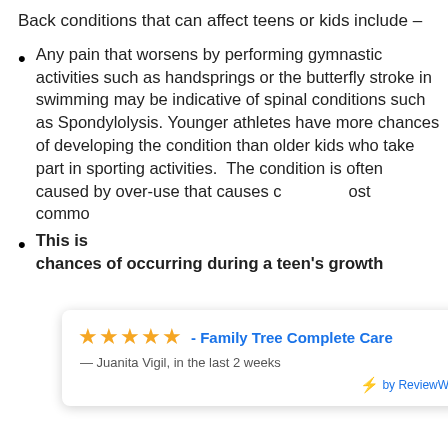Back conditions that can affect teens or kids include –
Any pain that worsens by performing gymnastic activities such as handsprings or the butterfly stroke in swimming may be indicative of spinal conditions such as Spondylolysis. Younger athletes have more chances of developing the condition than older kids who take part in sporting activities.  The condition is often caused by over-use that causes d[...]ost commo[...]
This is [...] chances of occurring during a teen's growth [...]
[Figure (other): ReviewWave widget overlay showing 5 stars, 'Family Tree Complete Care' in blue, review by '— Juanita Vigil, in the last 2 weeks', and 'by ReviewWave' branding with orange accent bar on right.]